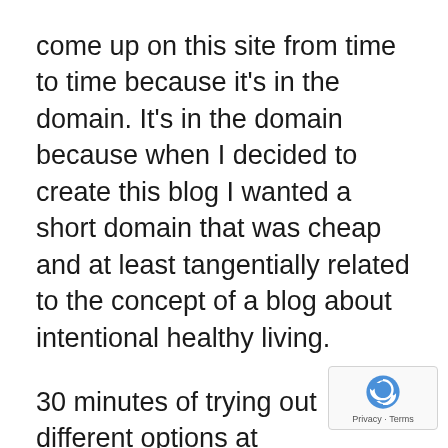come up on this site from time to time because it’s in the domain. It’s in the domain because when I decided to create this blog I wanted a short domain that was cheap and at least tangentially related to the concept of a blog about intentional healthy living.
30 minutes of trying out different options at Namecheap, and jon.fit was the winner.
In other words, the word “fit” doesn’t hold any special meaning for me, but we’re stuck with it because: